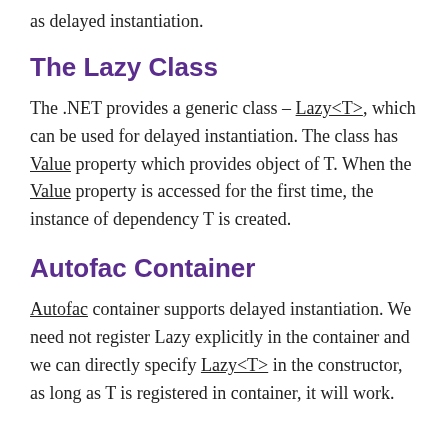as delayed instantiation.
The Lazy Class
The .NET provides a generic class – Lazy<T>, which can be used for delayed instantiation. The class has Value property which provides object of T. When the Value property is accessed for the first time, the instance of dependency T is created.
Autofac Container
Autofac container supports delayed instantiation. We need not register Lazy explicitly in the container and we can directly specify Lazy<T> in the constructor, as long as T is registered in container, it will work.